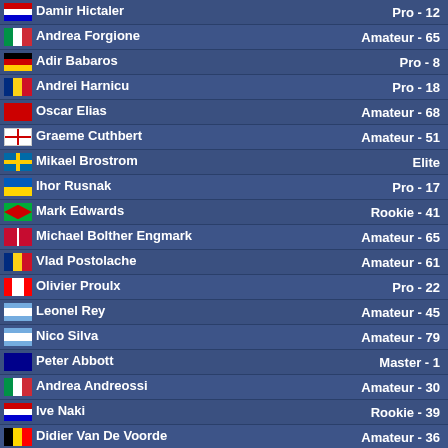| Name | Category |
| --- | --- |
| Damir Hictaler | Pro - 12 |
| Andrea Forgione | Amateur - 65 |
| Adir Babaros | Pro - 8 |
| Andrei Harnicu | Pro - 18 |
| Oscar Elias | Amateur - 68 |
| Graeme Cuthbert | Amateur - 51 |
| Mikael Brostrom | Elite |
| Ihor Rusnak | Pro - 17 |
| Mark Edwards | Rookie - 41 |
| Michael Bolther Engmark | Amateur - 65 |
| Vlad Postolache | Amateur - 61 |
| Olivier Proulx | Pro - 22 |
| Leonel Rey | Amateur - 45 |
| Nico Silva | Amateur - 79 |
| Peter Abbott | Master - 1 |
| Andrea Andreossi | Amateur - 30 |
| Ive Naki | Rookie - 39 |
| Didier Van De Voorde | Amateur - 36 |
| Luca Fois | Pro - 7 |
| Francesca Sabbadini | Pro - 9 |
| Lourens Wurz | Retired |
| Imre Siket | Amateur - 69 |
| Kenny Portrey | Retired |
| Joshua Abbott | Master - 5 |